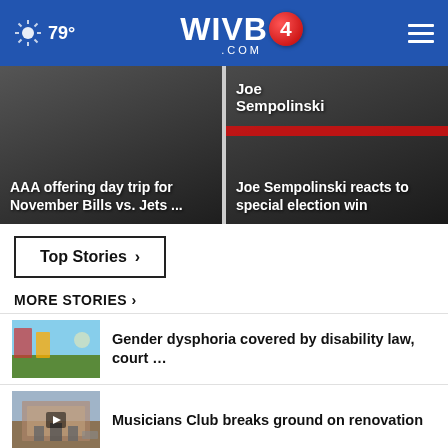79° WIVB4.com
[Figure (screenshot): AAA offering day trip for November Bills vs. Jets ... - news thumbnail with dark background]
AAA offering day trip for November Bills vs. Jets ...
[Figure (screenshot): Joe Sempolinski reacts to special election win - news thumbnail with dark background and red bar]
Joe Sempolinski reacts to special election win
Top Stories ›
MORE STORIES ›
[Figure (photo): Colorful flags outdoor scene - pride flag thumbnail]
Gender dysphoria covered by disability law, court …
[Figure (photo): Building exterior photo for Musicians Club story]
Musicians Club breaks ground on renovation